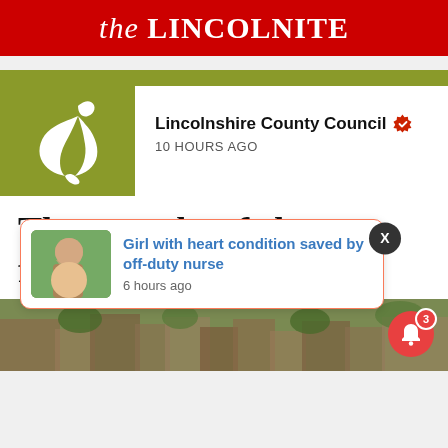the LINCOLNITE
[Figure (logo): Lincolnshire County Council logo — white stylized tulip/figure on olive green background]
Lincolnshire County Council ✓ verified
10 HOURS AGO
Three weeks of closures for additional surfacing works on Roman Bank
hich lasted 18
[Figure (photo): Popup notification card: Girl with heart condition saved by off-duty nurse — 6 hours ago, with thumbnail photo of a girl]
[Figure (photo): Aerial photo of a town/residential area visible at the bottom of the page]